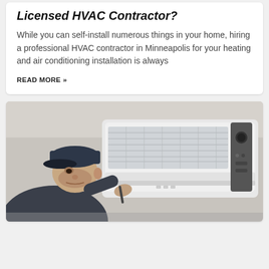Licensed HVAC Contractor?
While you can self-install numerous things in your home, hiring a professional HVAC contractor in Minneapolis for your heating and air conditioning installation is always
READ MORE »
[Figure (photo): A technician wearing a dark baseball cap inspects or services a wall-mounted mini-split air conditioning unit, leaning in closely to examine the interior components.]